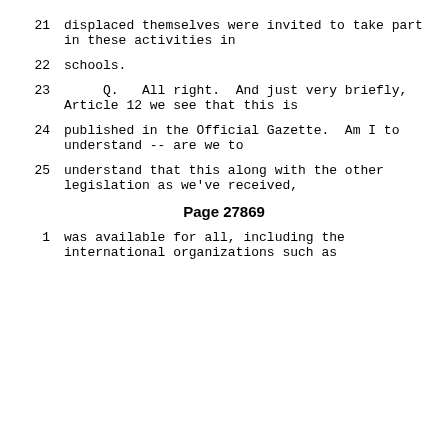21      displaced themselves were invited to take part in these activities in
22      schools.
23         Q.   All right.  And just very briefly, Article 12 we see that this is
24      published in the Official Gazette.  Am I to understand -- are we to
25      understand that this along with the other legislation as we've received,
Page 27869
1      was available for all, including the international organizations such as